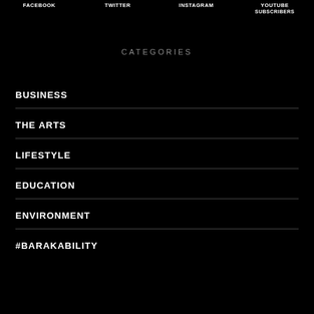FACEBOOK  TWITTER  INSTAGRAM  YOUTUBE SUBSCRIBERS
CATEGORIES
BUSINESS
THE ARTS
LIFESTYLE
EDUCATION
ENVIRONMENT
#BARAKABILITY